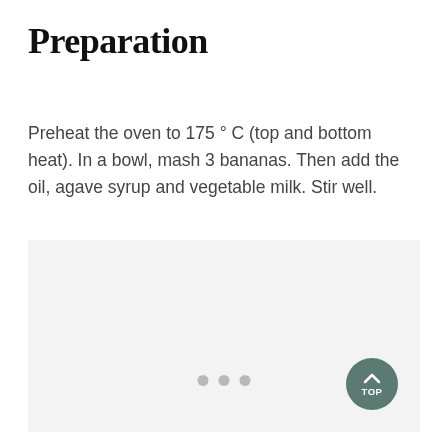Preparation
Preheat the oven to 175 ° C (top and bottom heat). In a bowl, mash 3 bananas. Then add the oil, agave syrup and vegetable milk. Stir well.
[Figure (photo): Image placeholder area with light gray background and three dots pagination indicator at bottom center. A teal circular 'TOP' button appears at lower right.]